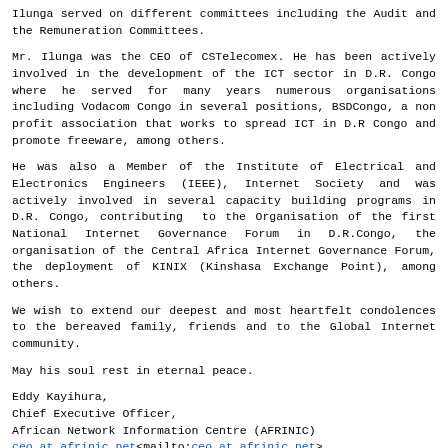Ilunga served on different committees including the Audit and the Remuneration Committees.
Mr. Ilunga was the CEO of CSTelecomex. He has been actively involved in the development of the ICT sector in D.R. Congo where he served for many years numerous organisations including Vodacom Congo in several positions, BSDCongo, a non profit association that works to spread ICT in D.R Congo and promote freeware, among others.
He was also a Member of the Institute of Electrical and Electronics Engineers (IEEE), Internet Society and was actively involved in several capacity building programs in D.R. Congo, contributing to the Organisation of the first National Internet Governance Forum in D.R.Congo, the organisation of the Central Africa Internet Governance Forum, the deployment of KINIX (Kinshasa Exchange Point), among others.
We wish to extend our deepest and most heartfelt condolences to the bereaved family, friends and to the Global Internet community.
May his soul rest in eternal peace.
Eddy Kayihura,
Chief Executive Officer,
African Network Information Centre (AFRINIC)
ceo at afrinic.net<mailto:ceo at afrinic.net>
<mailto:ceo at afrinic.net<mailto:ceo at afrinic.net>>